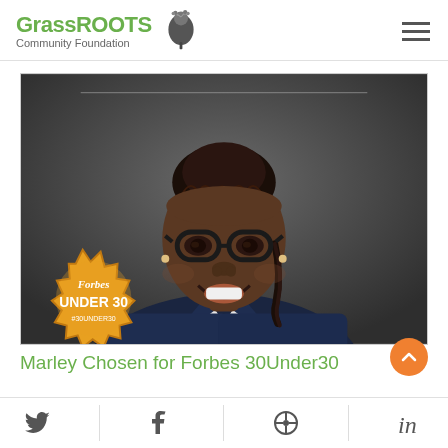GrassROOTS Community Foundation
[Figure (photo): Young woman with braided hair and glasses smiling, wearing a navy blazer; Forbes Under 30 badge overlaid in bottom-left corner]
Marley Chosen for Forbes 30Under30